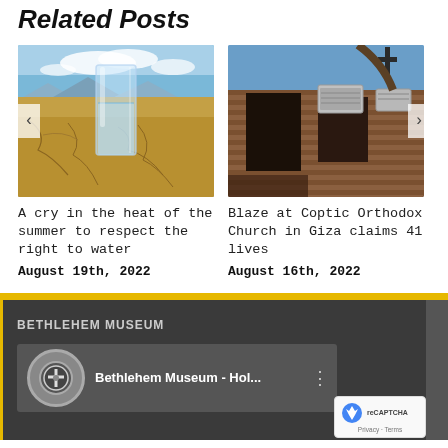Related Posts
[Figure (photo): A glass of water on cracked dry earth desert landscape with blue sky]
A cry in the heat of the summer to respect the right to water
August 19th, 2022
[Figure (photo): Burned Coptic Orthodox Church building with crosses visible, brick walls and air conditioning units]
Blaze at Coptic Orthodox Church in Giza claims 41 lives
August 16th, 2022
BETHLEHEM MUSEUM
[Figure (screenshot): YouTube video thumbnail showing Bethlehem Museum - Hol... video with museum logo]